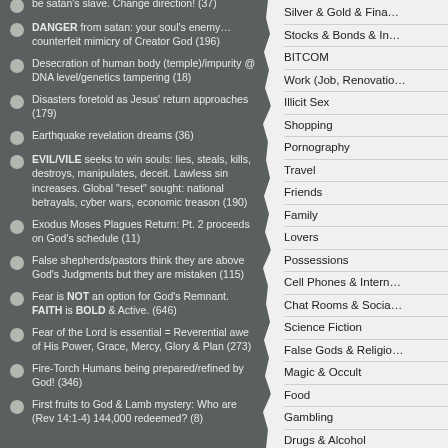be satan's slave. Change direction! (37)
DANGER from satan: your soul's enemy… counterfeit mimicry of Creator God (196)
Desecration of human body (temple)/impurity @ DNA level/genetics tampering (18)
Disasters foretold as Jesus' return approaches (179)
Earthquake revelation dreams (36)
EVIL/VILE seeks to win souls: lies, steals, kills, destroys, manipulates, deceit. Lawless sin increases. Global "reset" sought: national betrayals, cyber wars, economic treason (190)
Exodus Moses Plagues Return: Pt. 2 proceeds on God's schedule (11)
False shepherds/pastors think they are above God's Judgments but they are mistaken (115)
Fear is NOT an option for God's Remnant. FAITH is BOLD & Active. (646)
Fear of the Lord is essential = Reverential awe of His Power, Grace, Mercy, Glory & Plan (273)
Fire-Torch Humans being prepared/refined by God! (346)
First fruits to God & Lamb mystery: Who are (Rev 14:1-4) 144,000 redeemed? (8)
Silver & Gold & Fina…
Stocks & Bonds & In…
BITCOM
Work (Job, Renovatio…
Illicit Sex
Shopping
Pornography
Travel
Friends
Family
Lovers
Possessions
Cell Phones & Intern…
Chat Rooms & Socia…
Science Fiction
False Gods & Religio…
Magic & Occult
Food
Gambling
Drugs & Alcohol